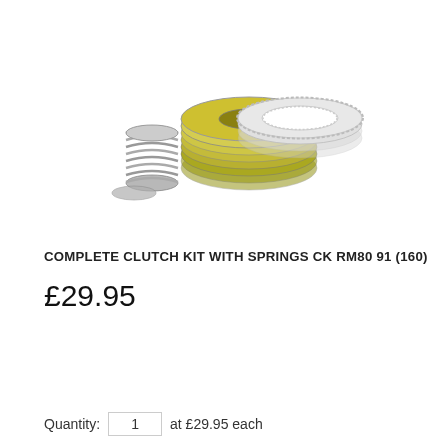[Figure (photo): Product photo of a complete clutch kit with springs, showing layered friction discs, steel plates, and coil springs arranged together.]
COMPLETE CLUTCH KIT WITH SPRINGS CK RM80 91 (160)
£29.95
Quantity:  1  at  £29.95  each